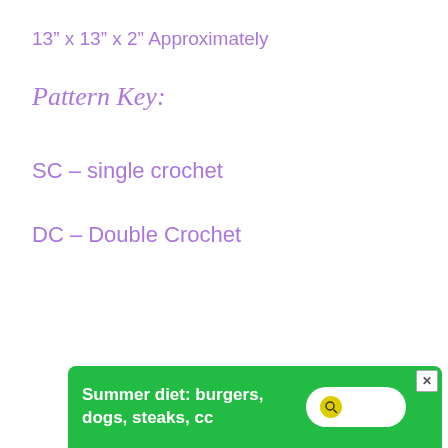13” x 13” x 2” Approximately
Pattern Key:
SC – single crochet
DC – Double Crochet